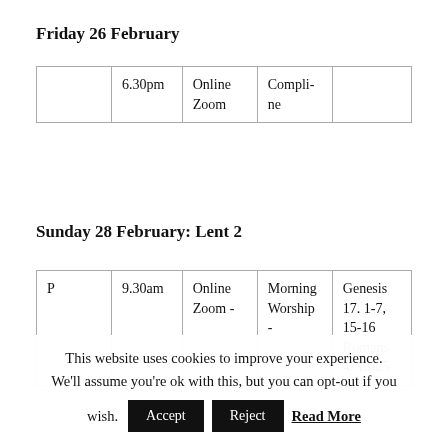Friday 26 February
|  | 6.30pm | Online Zoom | Compline |  |
Sunday 28 February: Lent 2
| P | 9.30am | Online Zoom - | Morning Worship - | Genesis 17. 1-7, 15-16 Romans 4. 13-25 |
This website uses cookies to improve your experience. We'll assume you're ok with this, but you can opt-out if you wish. Accept Reject Read More